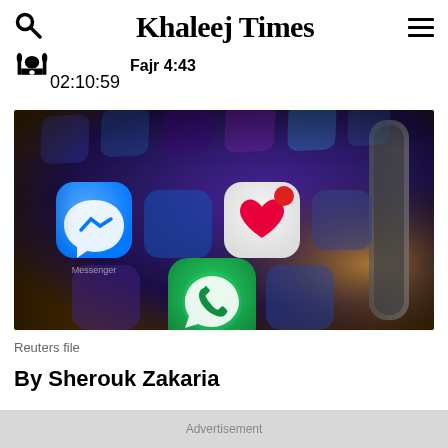Khaleej Times  Fajr 4:43  02:10:59
[Figure (photo): Close-up photo of a smartphone screen showing app icons including WhatsApp and Facebook Messenger on a dark background]
Reuters file
By Sherouk Zakaria
Advertisement